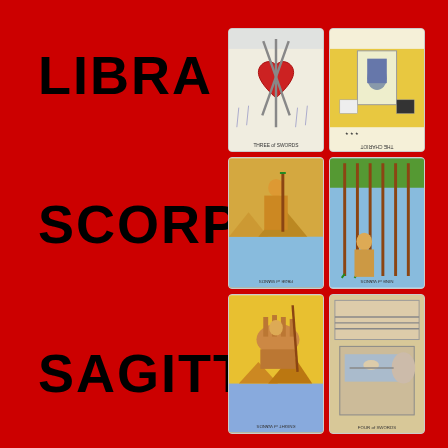LIBRA
SCORPIO
SAGITTARIUS
[Figure (photo): Six tarot cards arranged in a 2x3 grid on a dark red background. Cards appear to include Three of Swords, The Chariot reversed, Page of Wands reversed, Nine of Wands reversed, Knight of Wands reversed, and Four of Swords.]